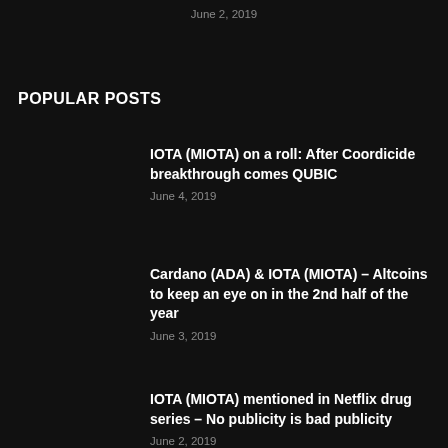June 2, 2019
POPULAR POSTS
IOTA (MIOTA) on a roll: After Coordicide breakthrough comes QUBIC
June 4, 2019
Cardano (ADA) & IOTA (MIOTA) – Altcoins to keep an eye on in the 2nd half of the year
June 3, 2019
IOTA (MIOTA) mentioned in Netflix drug series – No publicity is bad publicity
June 2, 2019